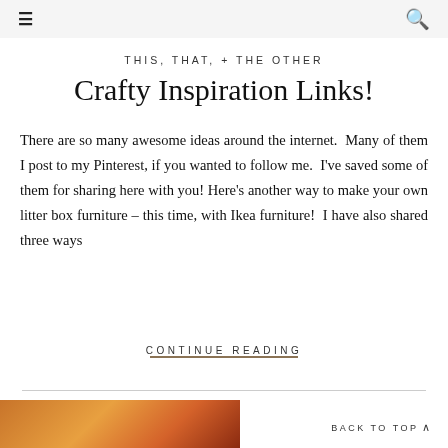≡  🔍
THIS, THAT, + THE OTHER
Crafty Inspiration Links!
There are so many awesome ideas around the internet.  Many of them I post to my Pinterest, if you wanted to follow me.  I've saved some of them for sharing here with you! Here's another way to make your own litter box furniture – this time, with Ikea furniture!  I have also shared three ways
CONTINUE READING
BACK TO TOP ∧